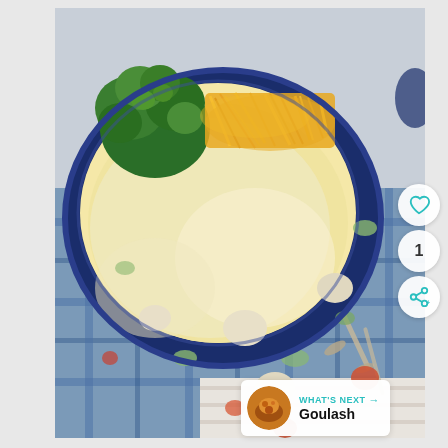[Figure (photo): A bowl of creamy soup (chowder) topped with shredded cheddar cheese and fresh parsley, served in a dark blue bowl on a blue plaid cloth with spoons, viewed from above]
[Figure (other): UI overlay: heart/like button (teal outline), count badge showing '1', and share button arranged vertically on the right side of the photo]
[Figure (other): WHAT'S NEXT panel showing a thumbnail of Goulash with label 'WHAT'S NEXT →' and title 'Goulash']